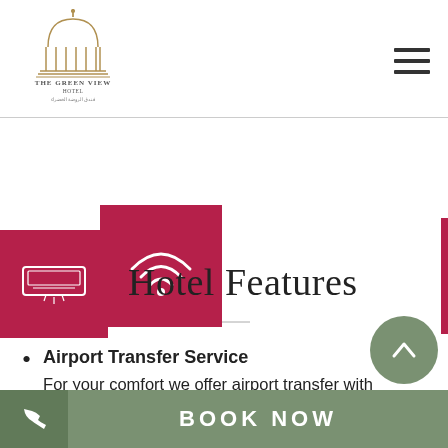The Green View Hotel
[Figure (logo): The Green View Hotel logo with domed building illustration and Arabic text beneath]
Hotel Features
[Figure (illustration): Two pink/crimson icon boxes: one with an AC unit icon, one with a WiFi icon]
Airport Transfer Service — For your comfort we offer airport transfer with professional chauffeurs
BOOK NOW